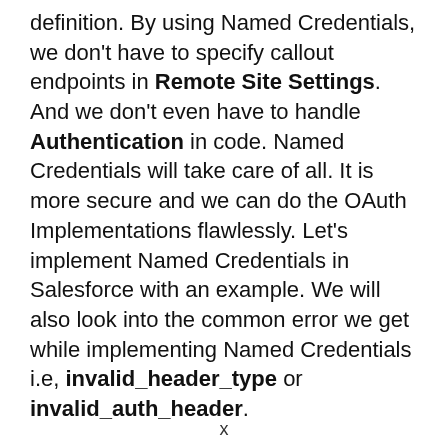definition. By using Named Credentials, we don't have to specify callout endpoints in Remote Site Settings. And we don't even have to handle Authentication in code. Named Credentials will take care of all. It is more secure and we can do the OAuth Implementations flawlessly. Let's implement Named Credentials in Salesforce with an example. We will also look into the common error we get while implementing Named Credentials i.e, invalid_header_type or invalid_auth_header.
x